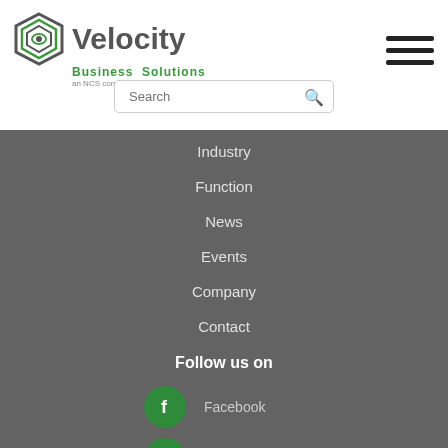[Figure (logo): Velocity Business Solutions logo — hexagonal eye icon in dark green/grey, 'Velocity' in grey bold, 'Business Solutions' in green, 'an NCS company' in small grey text]
[Figure (infographic): Hamburger menu icon — three horizontal black bars]
[Figure (infographic): Search bar with placeholder text 'Search' and magnifying glass icon]
Industry
Function
News
Events
Company
Contact
Follow us on
[Figure (infographic): Green circle with Facebook 'f' icon, label 'Facebook']
[Figure (infographic): Green circle with Twitter bird icon, label 'Twitter']